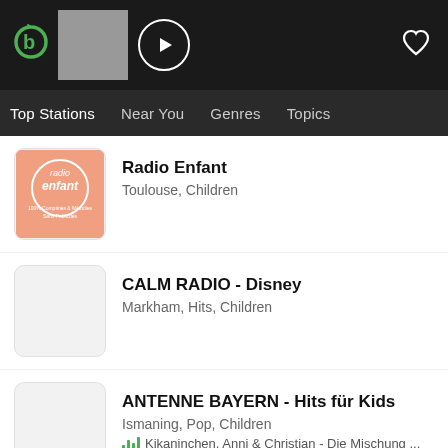[Figure (screenshot): App top bar with logo, thumbnail placeholder, play button, and heart icon on dark background]
Top Stations  Near You  Genres  Topics
Radio Enfant
Toulouse, Children
CALM RADIO - Disney
Markham, Hits, Children
ANTENNE BAYERN - Hits für Kids
Ismaning, Pop, Children
Kikaninchen, Anni & Christian - Die Mischung ...
Babyradio
Hits, Children